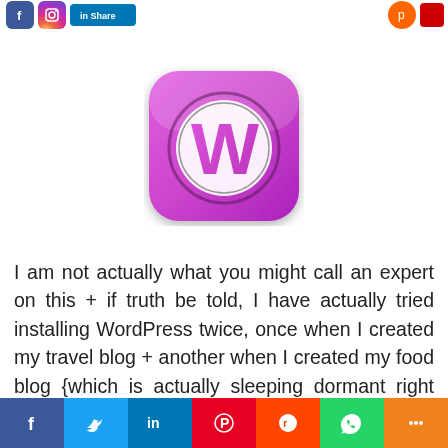[Figure (logo): Partial social media share buttons at top: Facebook (blue), Instagram (gradient), LinkedIn (blue button)]
[Figure (logo): WordPress logo: pink/purple rounded square app icon with large W letter inside a circle]
I am not actually what you might call an expert on this + if truth be told, I have actually tried installing WordPress twice, once when I created my travel blog + another when I created my food blog {which is actually sleeping dormant right now, waiting for when I'd muster enough guts to blog about food} which are
[Figure (infographic): Bottom social share bar with buttons: Facebook (blue), Twitter (light blue), LinkedIn (dark blue), Pinterest (red), Reddit (orange-red), WhatsApp (green), More (orange)]